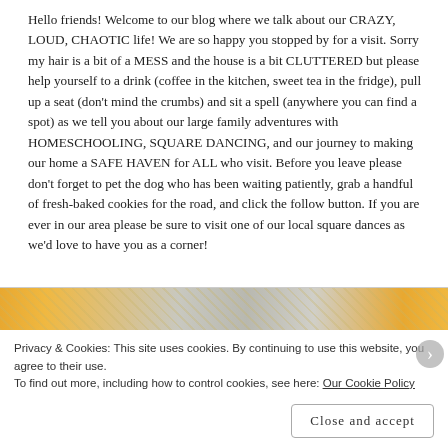Hello friends! Welcome to our blog where we talk about our CRAZY, LOUD, CHAOTIC life! We are so happy you stopped by for a visit. Sorry my hair is a bit of a MESS and the house is a bit CLUTTERED but please help yourself to a drink (coffee in the kitchen, sweet tea in the fridge), pull up a seat (don't mind the crumbs) and sit a spell (anywhere you can find a spot) as we tell you about our large family adventures with HOMESCHOOLING, SQUARE DANCING, and our journey to making our home a SAFE HAVEN for ALL who visit. Before you leave please don't forget to pet the dog who has been waiting patiently, grab a handful of fresh-baked cookies for the road, and click the follow button. If you are ever in our area please be sure to visit one of our local square dances as we'd love to have you as a corner!
[Figure (photo): Partial image of what appears to be a wooden surface or outdoor scene with orange/warm tones, partially cropped at the top of the cookie banner]
Privacy & Cookies: This site uses cookies. By continuing to use this website, you agree to their use.
To find out more, including how to control cookies, see here: Our Cookie Policy
Close and accept